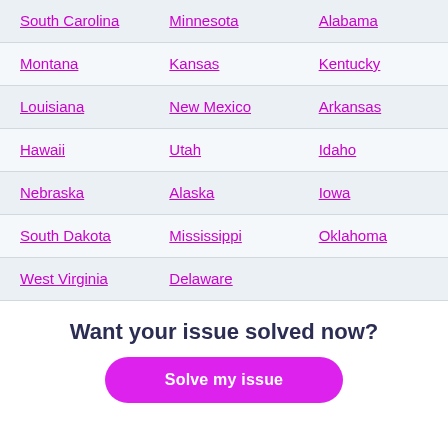| South Carolina | Minnesota | Alabama |
| Montana | Kansas | Kentucky |
| Louisiana | New Mexico | Arkansas |
| Hawaii | Utah | Idaho |
| Nebraska | Alaska | Iowa |
| South Dakota | Mississippi | Oklahoma |
| West Virginia | Delaware |  |
Want your issue solved now?
Solve my issue